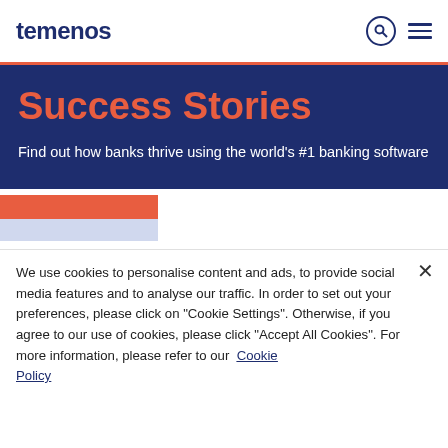temenos
Success Stories
Find out how banks thrive using the world's #1 banking software
[Figure (illustration): Decorative orange and blue rectangular blocks]
We use cookies to personalise content and ads, to provide social media features and to analyse our traffic. In order to set out your preferences, please click on "Cookie Settings". Otherwise, if you agree to our use of cookies, please click "Accept All Cookies". For more information, please refer to our Cookie Policy